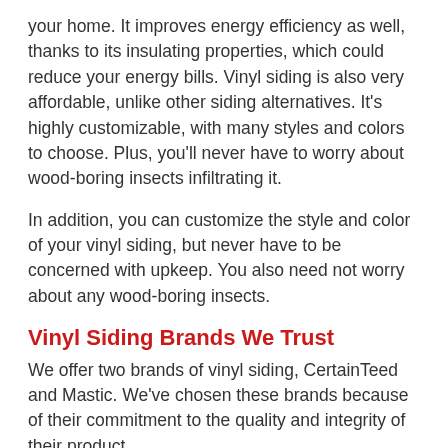your home. It improves energy efficiency as well, thanks to its insulating properties, which could reduce your energy bills. Vinyl siding is also very affordable, unlike other siding alternatives. It's highly customizable, with many styles and colors to choose. Plus, you'll never have to worry about wood-boring insects infiltrating it.
In addition, you can customize the style and color of your vinyl siding, but never have to be concerned with upkeep. You also need not worry about any wood-boring insects.
Vinyl Siding Brands We Trust
We offer two brands of vinyl siding, CertainTeed and Mastic. We've chosen these brands because of their commitment to the quality and integrity of their product.
CertainTeed Vinyl Siding
CertainTeed vinyl siding is robust with an industry-